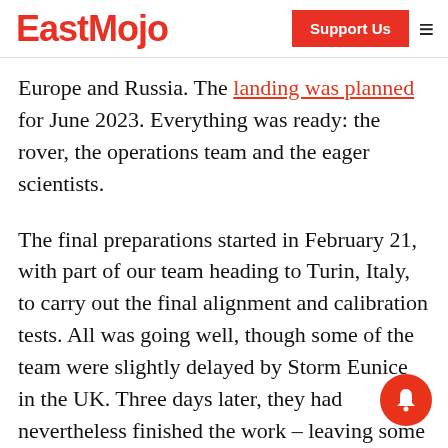EastMojo | Support Us
Europe and Russia. The landing was planned for June 2023. Everything was ready: the rover, the operations team and the eager scientists.
The final preparations started in February 21, with part of our team heading to Turin, Italy, to carry out the final alignment and calibration tests. All was going well, though some of the team were slightly delayed by Storm Eunice in the UK. Three days later, they had nevertheless finished the work – leaving some wonderful data, which would help us decide where Rosalind would drill on Mars.